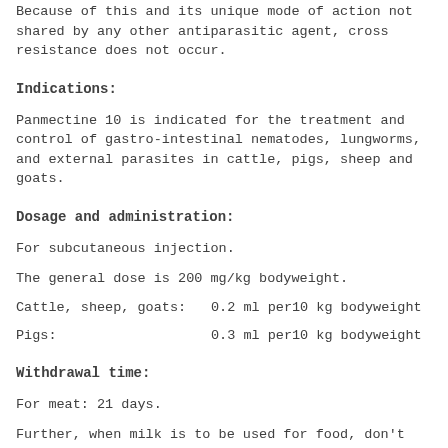Because of this and its unique mode of action not shared by any other antiparasitic agent, cross resistance does not occur.
Indications:
Panmectine 10 is indicated for the treatment and control of gastro-intestinal nematodes, lungworms, and external parasites in cattle, pigs, sheep and goats.
Dosage and administration:
For subcutaneous injection.
The general dose is 200 mg/kg bodyweight.
Cattle, sheep, goats:    0.2 ml per10 kg bodyweight
Pigs:                    0.3 ml per10 kg bodyweight
Withdrawal time:
For meat: 21 days.
Further, when milk is to be used for food, don't use in lactating